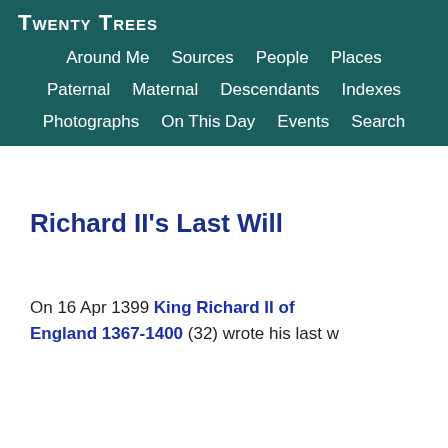Twenty Trees
Around Me  Sources  People  Places
Paternal  Maternal  Descendants  Indexes
Photographs  On This Day  Events  Search
Richard II's Last Will
On 16 Apr 1399 King Richard II of England 1367-1400 (32) wrote his last w...